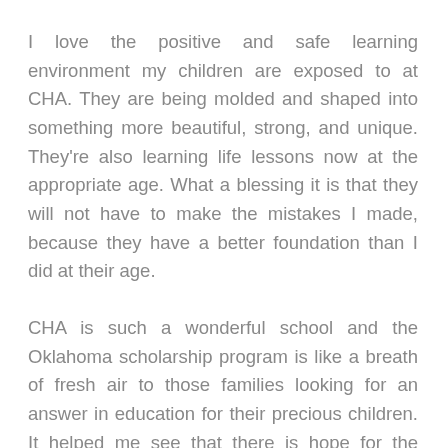I love the positive and safe learning environment my children are exposed to at CHA. They are being molded and shaped into something more beautiful, strong, and unique. They're also learning life lessons now at the appropriate age. What a blessing it is that they will not have to make the mistakes I made, because they have a better foundation than I did at their age.
CHA is such a wonderful school and the Oklahoma scholarship program is like a breath of fresh air to those families looking for an answer in education for their precious children. It helped me see that there is hope for the future with programs like the opportunity